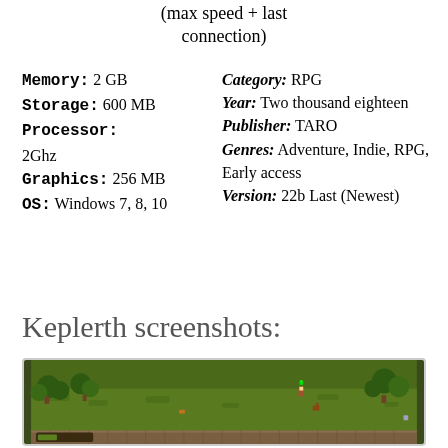(max speed + fast connection)
Memory: 2 GB
Storage: 600 MB
Processor: 2Ghz
Graphics: 256 MB
OS: Windows 7, 8, 10
Category: RPG
Year: Two thousand eighteen
Publisher: TARO
Genres: Adventure, Indie, RPG, Early access
Version: 22b Last (Newest)
Keplerth screenshots:
[Figure (screenshot): Keplerth game screenshot showing a top-down pixel art RPG scene with a green grassy field, trees, and a character exploring the environment.]